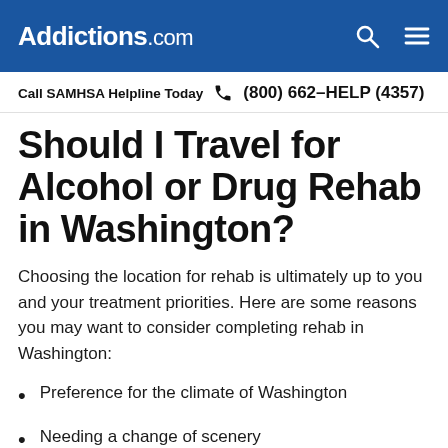Addictions.com
Call SAMHSA Helpline Today (800) 662-HELP (4357)
Should I Travel for Alcohol or Drug Rehab in Washington?
Choosing the location for rehab is ultimately up to you and your treatment priorities. Here are some reasons you may want to consider completing rehab in Washington:
Preference for the climate of Washington
Needing a change of scenery
You cannot get the treatment you need in your